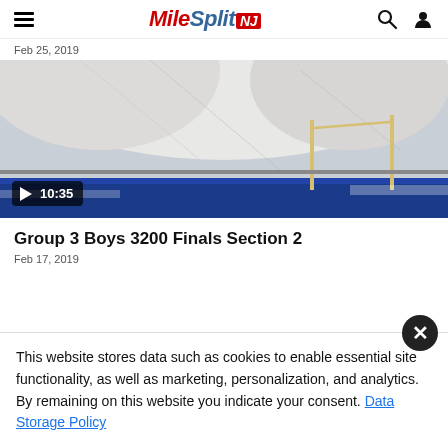MileSplit NJ
Feb 25, 2019
[Figure (screenshot): Indoor track facility video thumbnail showing high jump bar setup, with play button overlay showing duration 10:35]
Group 3 Boys 3200 Finals Section 2
Feb 17, 2019
This website stores data such as cookies to enable essential site functionality, as well as marketing, personalization, and analytics. By remaining on this website you indicate your consent. Data Storage Policy